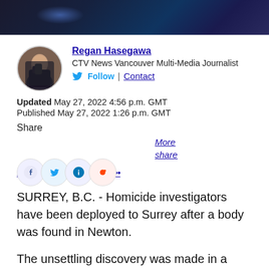[Figure (photo): Dark blue/navy header image, appears to be a night scene with blue lighting]
Regan Hasegawa
CTV News Vancouver Multi-Media Journalist
Follow | Contact
Updated May 27, 2022 4:56 p.m. GMT
Published May 27, 2022 1:26 p.m. GMT
Share
More share options
SURREY, B.C. - Homicide investigators have been deployed to Surrey after a body was found in Newton.
The unsettling discovery was made in a park